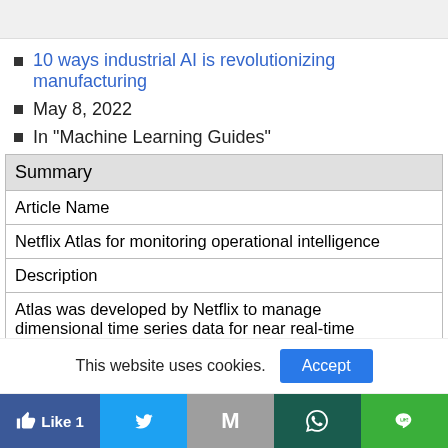10 ways industrial AI is revolutionizing manufacturing
May 8, 2022
In "Machine Learning Guides"
| Summary |
| --- |
| Article Name |
| Netflix Atlas for monitoring operational intelligence |
| Description |
| Atlas was developed by Netflix to manage dimensional time series data for near real-time |
This website uses cookies.
Accept